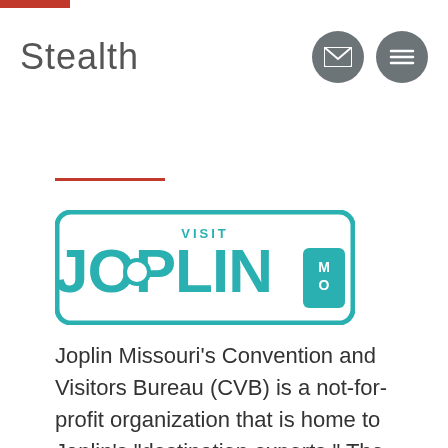[Figure (logo): Stealth logo text in gray]
[Figure (logo): Visit Joplin MO logo in teal/white bold typography]
Joplin Missouri's Convention and Visitors Bureau (CVB) is a not-for-profit organization that is home to Joplin's “destination experts.” The CVB offers complimentary services, including arranging site tours,